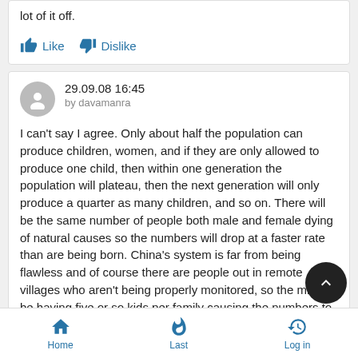lot of it off.
Like   Dislike
29.09.08 16:45
by davamanra
I can't say I agree. Only about half the population can produce children, women, and if they are only allowed to produce one child, then within one generation the population will plateau, then the next generation will only produce a quarter as many children, and so on. There will be the same number of people both male and female dying of natural causes so the numbers will drop at a faster rate than are being born. China's system is far from being flawless and of course there are people out in remote villages who aren't being properly monitored, so the might be having five or so kids per family causing the numbers to rise.
Home   Last   Log in